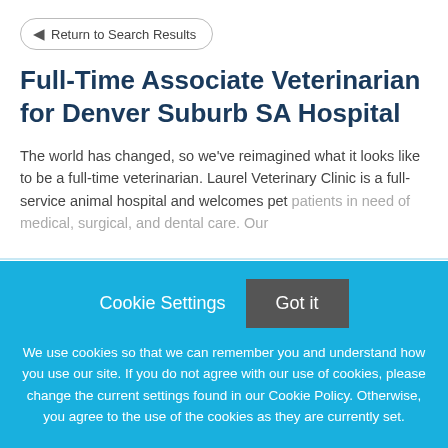Return to Search Results
Full-Time Associate Veterinarian for Denver Suburb SA Hospital
The world has changed, so we've reimagined what it looks like to be a full-time veterinarian. Laurel Veterinary Clinic is a full-service animal hospital and welcomes pet patients in need of medical, surgical, and dental care. Our
Cookie Settings
Got it
We use cookies so that we can remember you and understand how you use our site. If you do not agree with our use of cookies, please change the current settings found in our Cookie Policy. Otherwise, you agree to the use of the cookies as they are currently set.